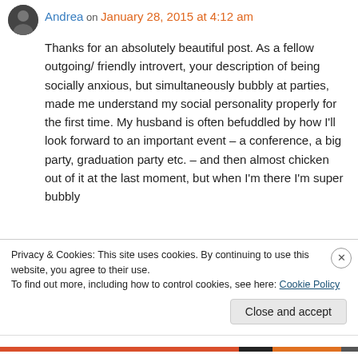Andrea on January 28, 2015 at 4:12 am
Thanks for an absolutely beautiful post. As a fellow outgoing/ friendly introvert, your description of being socially anxious, but simultaneously bubbly at parties, made me understand my social personality properly for the first time. My husband is often befuddled by how I'll look forward to an important event – a conference, a big party, graduation party etc. – and then almost chicken out of it at the last moment, but when I'm there I'm super bubbly
Privacy & Cookies: This site uses cookies. By continuing to use this website, you agree to their use.
To find out more, including how to control cookies, see here: Cookie Policy
Close and accept